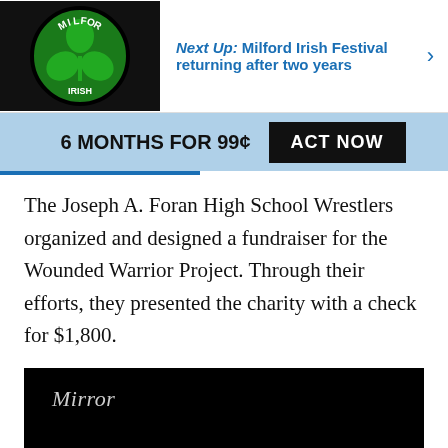Next Up: Milford Irish Festival returning after two years
6 MONTHS FOR 99¢  ACT NOW
The Joseph A. Foran High School Wrestlers organized and designed a fundraiser for the Wounded Warrior Project. Through their efforts, they presented the charity with a check for $1,800.
[Figure (screenshot): Black video player thumbnail with 'Mirror' text in italic serif font and two dots at bottom center indicating video controls]